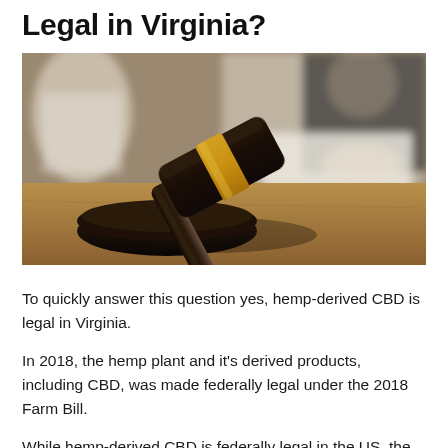Legal in Virginia?
[Figure (photo): A judge's gavel resting on its sound block on a wooden table, with people in formal attire visible in the blurred background, suggesting a legal or courtroom setting.]
To quickly answer this question yes, hemp-derived CBD is legal in Virginia.
In 2018, the hemp plant and it's derived products, including CBD, was made federally legal under the 2018 Farm Bill.
While hemp-derived CBD is federally legal in the US, the